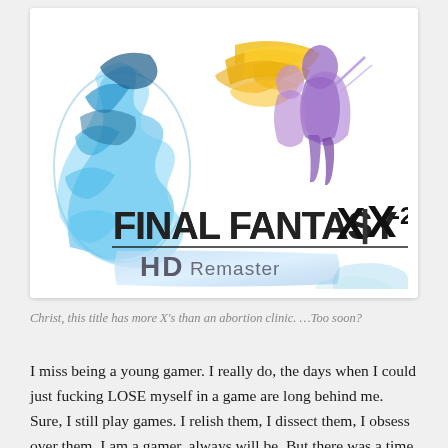[Figure (logo): Final Fantasy X | X-2 HD Remaster game logo with colorful fantasy artwork characters and stylized text on white background]
Christ, this title has more X's than an abortion clinic. …Too soon?
I miss being a young gamer. I really do, the days when I could just fucking LOSE myself in a game are long behind me. Sure, I still play games. I relish them, I dissect them, I obsess over them. I am a gamer, always will be. But there was a time